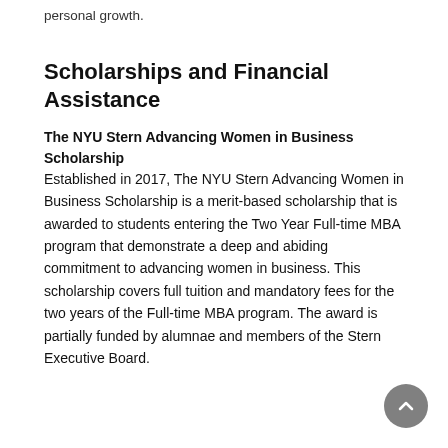personal growth.
Scholarships and Financial Assistance
The NYU Stern Advancing Women in Business Scholarship
Established in 2017, The NYU Stern Advancing Women in Business Scholarship is a merit-based scholarship that is awarded to students entering the Two Year Full-time MBA program that demonstrate a deep and abiding commitment to advancing women in business. This scholarship covers full tuition and mandatory fees for the two years of the Full-time MBA program. The award is partially funded by alumnae and members of the Stern Executive Board.